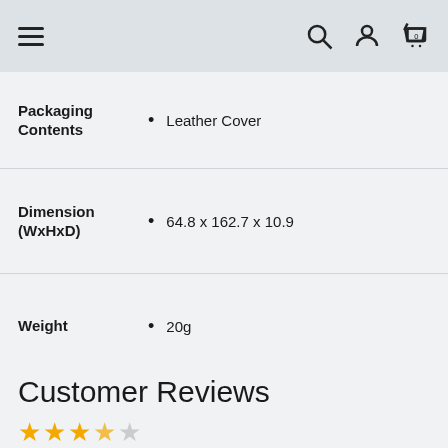Navigation bar with hamburger menu, search, account, and cart icons
| Attribute | Value |
| --- | --- |
| Packaging Contents | Leather Cover |
| Dimension (WxHxD) | 64.8 x 162.7 x 10.9 |
| Weight | 20g |
Customer Reviews
Rating stars (partial display)